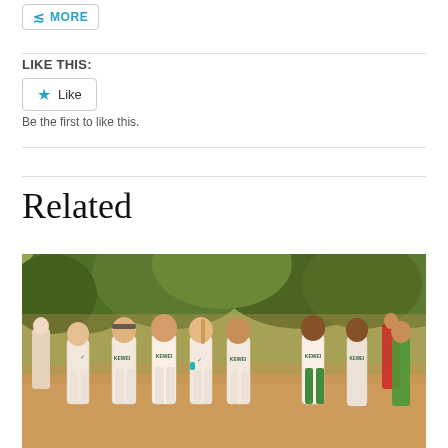MORE
LIKE THIS:
Like
Be the first to like this.
Related
[Figure (photo): Group of young cross country runners in white uniforms labeled 'KEWEI' or similar, standing together before a race, with trees in the background]